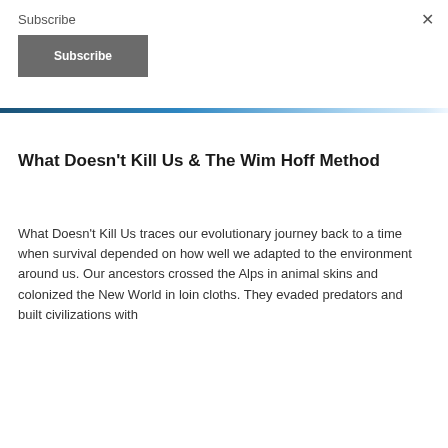Subscribe
Subscribe
×
What Doesn't Kill Us & The Wim Hoff Method
What Doesn't Kill Us traces our evolutionary journey back to a time when survival depended on how well we adapted to the environment around us. Our ancestors crossed the Alps in animal skins and colonized the New World in loin cloths. They evaded predators and built civilizations with